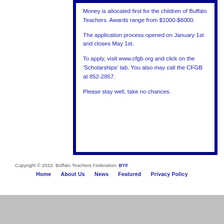Money is allocated first for the children of Buffalo Teachers. Awards range from $1000-$6000.

The application process opened on January 1st and closes May 1st.

To apply, visit www.cfgb.org and click on the 'Scholarships' tab. You also may call the CFGB at 852-2857.

Please stay well, take no chances.
Copyright © 2022. Buffalo Teachers Federation. BTF  Home  About Us  News  Featured  Privacy Policy